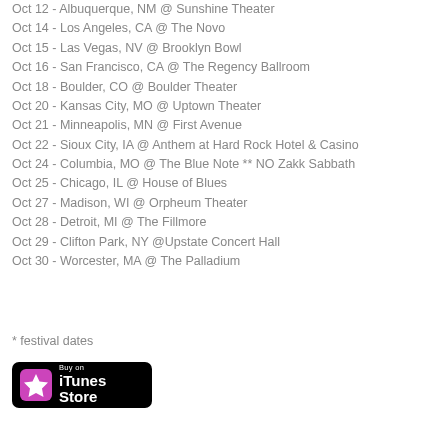Oct 12 - Albuquerque, NM @ Sunshine Theater
Oct 14 - Los Angeles, CA @ The Novo
Oct 15 - Las Vegas, NV @ Brooklyn Bowl
Oct 16 - San Francisco, CA @ The Regency Ballroom
Oct 18 - Boulder, CO @ Boulder Theater
Oct 20 - Kansas City, MO @ Uptown Theater
Oct 21 - Minneapolis, MN @ First Avenue
Oct 22 - Sioux City, IA @ Anthem at Hard Rock Hotel & Casino
Oct 24 - Columbia, MO @ The Blue Note ** NO Zakk Sabbath
Oct 25 - Chicago, IL @ House of Blues
Oct 27 - Madison, WI @ Orpheum Theater
Oct 28 - Detroit, MI @ The Fillmore
Oct 29 - Clifton Park, NY @Upstate Concert Hall
Oct 30 - Worcester, MA @ The Palladium
* festival dates
[Figure (logo): Buy on iTunes Store badge with pink star icon on black rounded rectangle background]